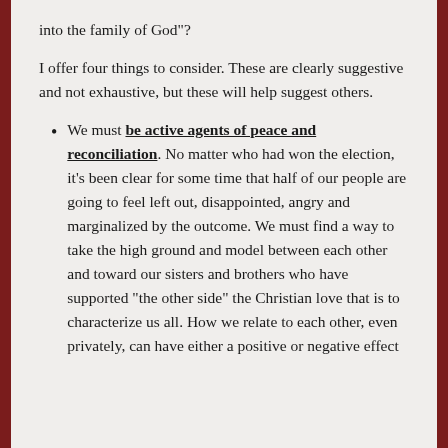into the family of God”?
I offer four things to consider.  These are clearly suggestive and not exhaustive, but these will help suggest others.
We must be active agents of peace and reconciliation. No matter who had won the election, it’s been clear for some time that half of our people are going to feel left out, disappointed, angry and marginalized by the outcome.  We must find a way to take the high ground and model between each other and toward our sisters and brothers who have supported “the other side” the Christian love that is to characterize us all.  How we relate to each other, even privately, can have either a positive or negative effect